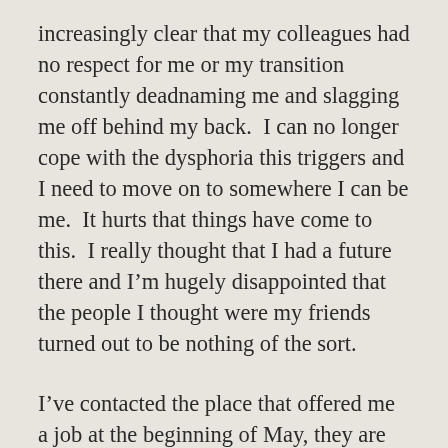increasingly clear that my colleagues had no respect for me or my transition constantly deadnaming me and slagging me off behind my back.  I can no longer cope with the dysphoria this triggers and I need to move on to somewhere I can be me.  It hurts that things have come to this.  I really thought that I had a future there and I'm hugely disappointed that the people I thought were my friends turned out to be nothing of the sort.
I've contacted the place that offered me a job at the beginning of May, they are still looking for people and seem genuinely pleased that I will be accepting a job with them.  I start on June 26th which seems a long way off but it will